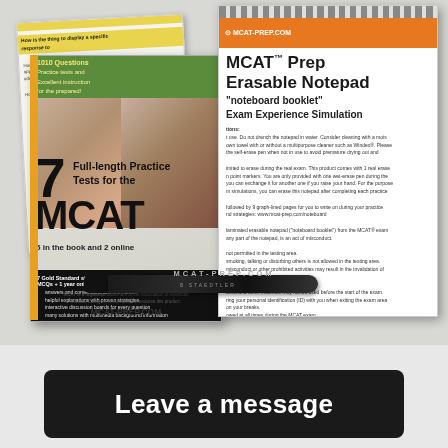[Figure (photo): Product photo showing MCAT Prep materials: an erasable notepad with spiral binding and orange header, a practice tests book '7 Full-length Practice Tests for the MCAT - 5 in the book and 2 online' published by MCAT-PREP.COM, a background document page, and a dry-erase marker pen in the foreground. Text on notepad includes 'MCAT Prep Erasable Notepad', 'noteboard booklet', 'Exam Experience Simulation', 'Aim for a Higher MCAT Score.' Below is a dark bar with 'Leave a message'.]
Leave a message